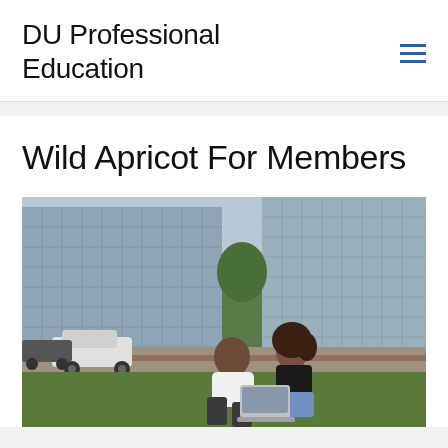DU Professional Education
Wild Apricot For Members
[Figure (photo): Two people, a bald man in a white t-shirt and a young woman with curly hair in a black top, sitting on grass outdoors looking at a laptop together. Modern glass office buildings are visible in the background along with parked and passing cars on a street.]